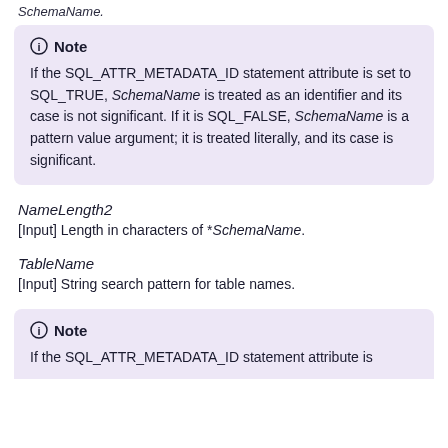SchemaName.
Note

If the SQL_ATTR_METADATA_ID statement attribute is set to SQL_TRUE, SchemaName is treated as an identifier and its case is not significant. If it is SQL_FALSE, SchemaName is a pattern value argument; it is treated literally, and its case is significant.
NameLength2
[Input] Length in characters of *SchemaName.
TableName
[Input] String search pattern for table names.
Note

If the SQL_ATTR_METADATA_ID statement attribute is ...